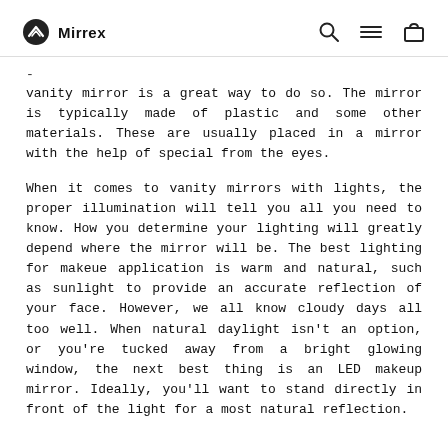Mirrex [search] [menu] [cart]
vanity mirror is a great way to do so. The mirror is typically made of plastic and some other materials. These are usually placed in a mirror with the help of special from the eyes.
When it comes to vanity mirrors with lights, the proper illumination will tell you all you need to know. How you determine your lighting will greatly depend where the mirror will be. The best lighting for makeue application is warm and natural, such as sunlight to provide an accurate reflection of your face. However, we all know cloudy days all too well. When natural daylight isn't an option, or you're tucked away from a bright glowing window, the next best thing is an LED makeup mirror. Ideally, you'll want to stand directly in front of the light for a most natural reflection.